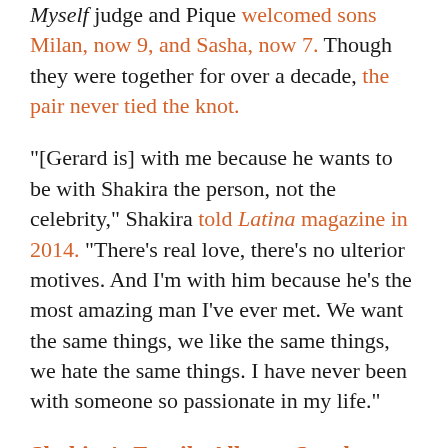Myself judge and Pique welcomed sons Milan, now 9, and Sasha, now 7. Though they were together for over a decade, the pair never tied the knot.
"[Gerard is] with me because he wants to be with Shakira the person, not the celebrity," Shakira told Latina magazine in 2014. "There's real love, there's no ulterior motives. And I'm with him because he's the most amazing man I've ever met. We want the same things, we like the same things, we hate the same things. I have never been with someone so passionate in my life."
Shakira's Family Album: See the Singer's